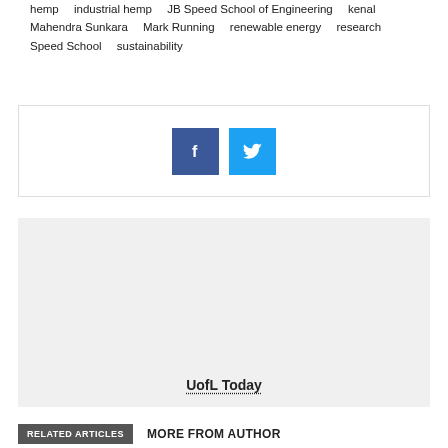hemp    industrial hemp    JB Speed School of Engineering    kenal
Mahendra Sunkara    Mark Running    renewable energy    research
Speed School    sustainability
[Figure (other): Social sharing buttons: Facebook (blue square with f icon) and Twitter (cyan square with bird icon)]
[Figure (other): Author box with light gray background showing 'UofL Today' as dotted-underlined author name at the bottom]
RELATED ARTICLES    MORE FROM AUTHOR